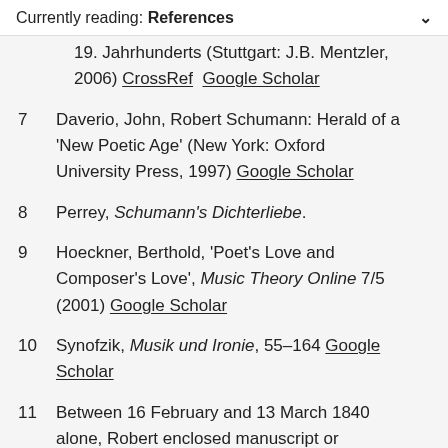Currently reading: References
19. Jahrhunderts (Stuttgart: J.B. Mentzler, 2006) CrossRef  Google Scholar
7  Daverio, John, Robert Schumann: Herald of a 'New Poetic Age' (New York: Oxford University Press, 1997) Google Scholar
8  Perrey, Schumann's Dichterliebe.
9  Hoeckner, Berthold, 'Poet's Love and Composer's Love', Music Theory Online 7/5 (2001) Google Scholar
10  Synofzik, Musik und Ironie, 55–164 Google Scholar
11  Between 16 February and 13 March 1840 alone, Robert enclosed manuscript or printed copies of his newly composed songs